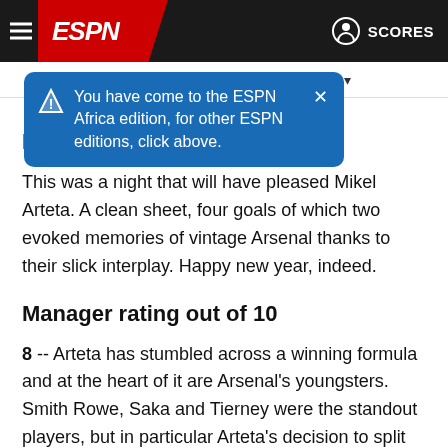ESPN
[Figure (screenshot): Blue ESPN Africa edition tooltip popup with warning icon and close button, reading: You have come to the ESPN Africa edition, for other ESPN editions, click above.]
Negatives
This was a night that will have pleased Mikel Arteta. A clean sheet, four goals of which two evoked memories of vintage Arsenal thanks to their slick interplay. Happy new year, indeed.
Manager rating out of 10
8 -- Arteta has stumbled across a winning formula and at the heart of it are Arsenal's youngsters. Smith Rowe, Saka and Tierney were the standout players, but in particular Arteta's decision to split the Tierney-Saka axis on the left, with Saka moving to the right, appears to be doubling the Gunners' threat.